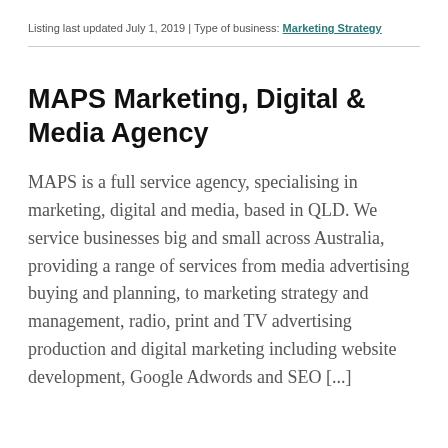Listing last updated July 1, 2019 | Type of business: Marketing Strategy
MAPS Marketing, Digital & Media Agency
MAPS is a full service agency, specialising in marketing, digital and media, based in QLD. We service businesses big and small across Australia, providing a range of services from media advertising buying and planning, to marketing strategy and management, radio, print and TV advertising production and digital marketing including website development, Google Adwords and SEO [...]